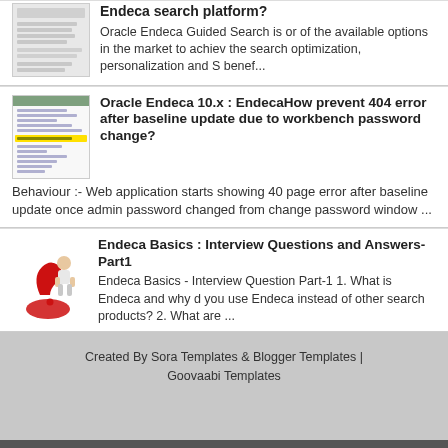[Figure (screenshot): Thumbnail screenshot of a webpage about Endeca search platform]
Endeca search platform?
Oracle Endeca Guided Search is or of the available options in the market to achiev the search optimization, personalization and S benef...
[Figure (screenshot): Thumbnail screenshot of code/configuration text with yellow highlighted line]
Oracle Endeca 10.x : EndecaHow prevent 404 error after baseline update due to workbench password change?
Behaviour :- Web application starts showing 40 page error after baseline update once admin password changed from change password window ...
[Figure (illustration): Red question mark with a person sitting on it, representing interview questions]
Endeca Basics : Interview Questions and Answers- Part1
Endeca Basics - Interview Question Part-1 1. What is Endeca and why d you use Endeca instead of other search products? 2. What are ...
Created By Sora Templates & Blogger Templates | Goovaabi Templates